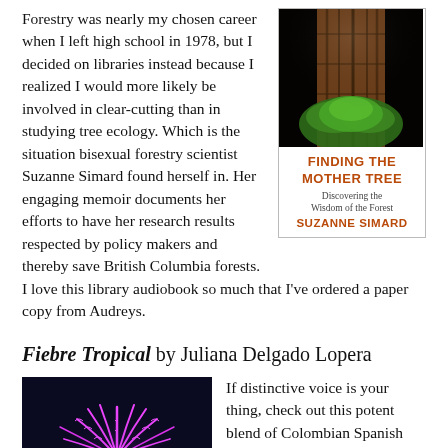Forestry was nearly my chosen career when I left high school in 1978, but I decided on libraries instead because I realized I would more likely be involved in clear-cutting than in studying tree ecology. Which is the situation bisexual forestry scientist Suzanne Simard found herself in. Her engaging memoir documents her efforts to have her research results respected by policy makers and thereby save British Columbia forests. I love this library audiobook so much that I've ordered a paper copy from Audreys.
[Figure (photo): Book cover of 'Finding the Mother Tree: Discovering the Wisdom of the Forest' by Suzanne Simard. Shows a large tree trunk with ferns at the base against dark background. Title and author in dark red/brown text.]
Fiebre Tropical by Juliana Delgado Lopera
[Figure (photo): Book cover of 'Fiebre Tropical' showing a glowing magenta/pink palm tree silhouette against a dark navy background.]
If distinctive voice is your thing, check out this potent blend of Colombian Spanish and English por el amor de Dios! Francisca at 15 has